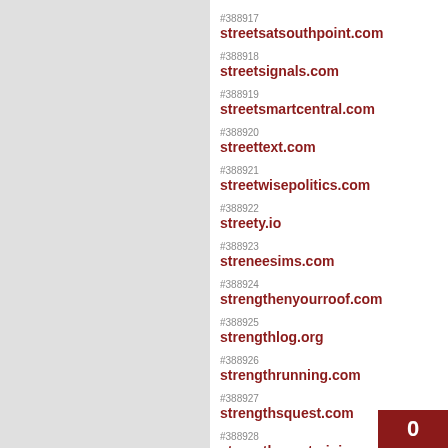#388917 streetsatsouthpoint.com
#388918 streetsignals.com
#388919 streetsmartcentral.com
#388920 streettext.com
#388921 streetwisepolitics.com
#388922 streety.io
#388923 streneesims.com
#388924 strengthenyourroof.com
#388925 strengthlog.org
#388926 strengthrunning.com
#388927 strengthsquest.com
#388928 strengthzonetraining.com